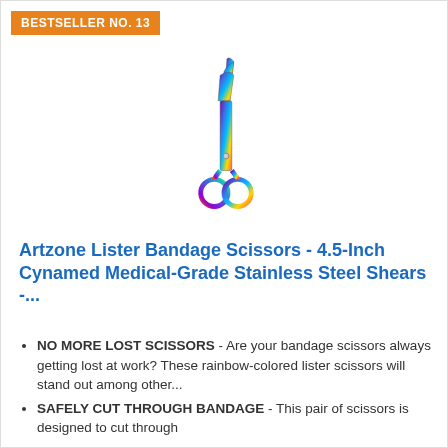BESTSELLER NO. 13
[Figure (photo): Rainbow-colored Lister bandage scissors standing upright, showing iridescent multi-color finish on stainless steel shears with angled blade and two finger rings at bottom.]
Artzone Lister Bandage Scissors - 4.5-Inch Cynamed Medical-Grade Stainless Steel Shears -...
NO MORE LOST SCISSORS - Are your bandage scissors always getting lost at work? These rainbow-colored lister scissors will stand out among other...
SAFELY CUT THROUGH BANDAGE - This pair of scissors is designed to cut through